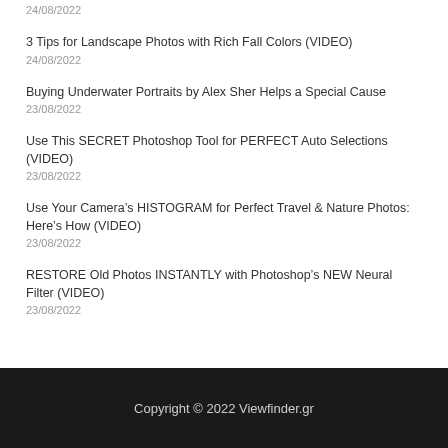24/08/2022
3 Tips for Landscape Photos with Rich Fall Colors (VIDEO)
24/08/2022
Buying Underwater Portraits by Alex Sher Helps a Special Cause
23/08/2022
Use This SECRET Photoshop Tool for PERFECT Auto Selections (VIDEO)
23/08/2022
Use Your Camera’s HISTOGRAM for Perfect Travel & Nature Photos: Here’s How (VIDEO)
23/08/2022
RESTORE Old Photos INSTANTLY with Photoshop’s NEW Neural Filter (VIDEO)
23/08/2022
Copyright © 2022 Viewfinder.gr